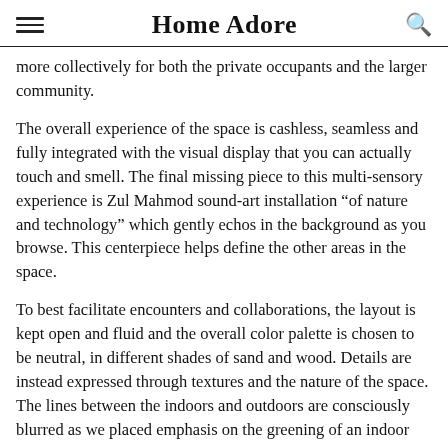Home Adore
more collectively for both the private occupants and the larger community.
The overall experience of the space is cashless, seamless and fully integrated with the visual display that you can actually touch and smell. The final missing piece to this multi-sensory experience is Zul Mahmod sound-art installation “of nature and technology” which gently echos in the background as you browse. This centerpiece helps define the other areas in the space.
To best facilitate encounters and collaborations, the layout is kept open and fluid and the overall color palette is chosen to be neutral, in different shades of sand and wood. Details are instead expressed through textures and the nature of the space. The lines between the indoors and outdoors are consciously blurred as we placed emphasis on the greening of an indoor space.